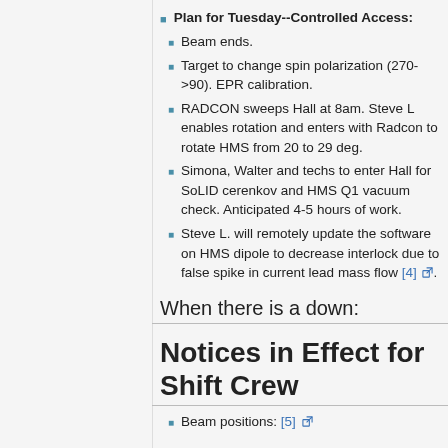Plan for Tuesday--Controlled Access:
Beam ends.
Target to change spin polarization (270->90). EPR calibration.
RADCON sweeps Hall at 8am. Steve L enables rotation and enters with Radcon to rotate HMS from 20 to 29 deg.
Simona, Walter and techs to enter Hall for SoLID cerenkov and HMS Q1 vacuum check. Anticipated 4-5 hours of work.
Steve L. will remotely update the software on HMS dipole to decrease interlock due to false spike in current lead mass flow [4].
When there is a down:
Notices in Effect for Shift Crew
Beam positions: [5]